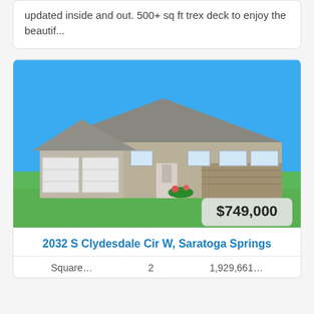updated inside and out. 500+ sq ft trex deck to enjoy the beautif...
[Figure (photo): Exterior photo of a single-story ranch-style home with three-car garage, stone accents, and blue sky background. Price badge showing $749,000 in bottom right corner.]
2032 S Clydesdale Cir W, Saratoga Springs
Square... 2... 1,929,661...